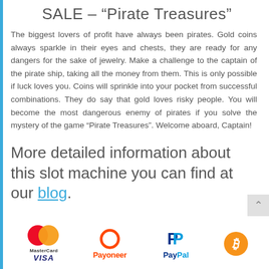SALE – “Pirate Treasures”
The biggest lovers of profit have always been pirates. Gold coins always sparkle in their eyes and chests, they are ready for any dangers for the sake of jewelry. Make a challenge to the captain of the pirate ship, taking all the money from them. This is only possible if luck loves you. Coins will sprinkle into your pocket from successful combinations. They do say that gold loves risky people. You will become the most dangerous enemy of pirates if you solve the mystery of the game “Pirate Treasures”. Welcome aboard, Captain!
More detailed information about this slot machine you can find at our blog.
[Figure (logo): Payment method logos: MasterCard/Visa, Payoneer, PayPal, Bitcoin]